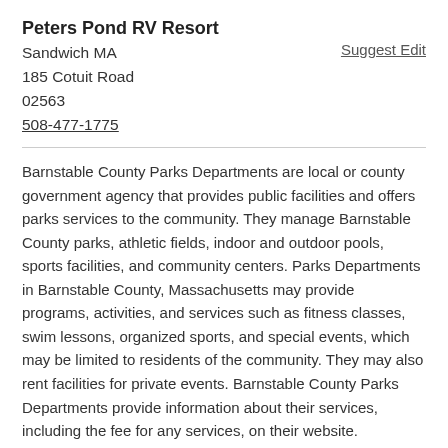Peters Pond RV Resort
Sandwich MA
185 Cotuit Road
02563
508-477-1775
Suggest Edit
Barnstable County Parks Departments are local or county government agency that provides public facilities and offers parks services to the community. They manage Barnstable County parks, athletic fields, indoor and outdoor pools, sports facilities, and community centers. Parks Departments in Barnstable County, Massachusetts may provide programs, activities, and services such as fitness classes, swim lessons, organized sports, and special events, which may be limited to residents of the community. They may also rent facilities for private events. Barnstable County Parks Departments provide information about their services, including the fee for any services, on their website.
Eastham Parks and Recreation
Eastham MA